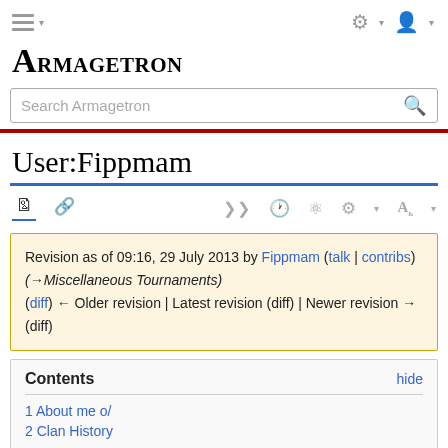Armagetron
User:Fippmam
Revision as of 09:16, 29 July 2013 by Fippmam (talk | contribs) (→Miscellaneous Tournaments) (diff) ← Older revision | Latest revision (diff) | Newer revision → (diff)
Contents
1 About me o/
2 Clan History